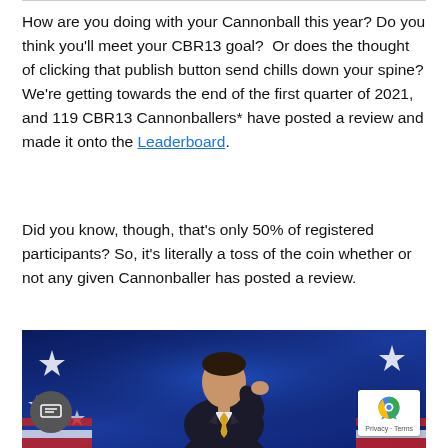How are you doing with your Cannonball this year? Do you think you'll meet your CBR13 goal?  Or does the thought of clicking that publish button send chills down your spine? We're getting towards the end of the first quarter of 2021, and 119 CBR13 Cannonballers* have posted a review and made it onto the Leaderboard.
Did you know, though, that's only 50% of registered participants? So, it's literally a toss of the coin whether or not any given Cannonballer has posted a review.
[Figure (photo): A man in a dark suit with a yellow tie gesturing upward, photographed against a blue background with stars, resembling a TV show set.]